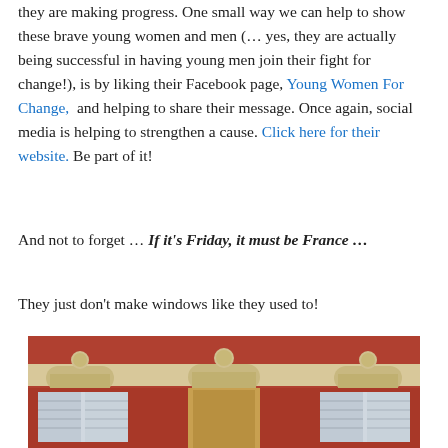they are making progress. One small way we can help to show these brave young women and men (… yes, they are actually being successful in having young men join their fight for change!), is by liking their Facebook page, Young Women For Change,  and helping to share their message. Once again, social media is helping to strengthen a cause. Click here for their website. Be part of it!
And not to forget … If it's Friday, it must be France …
They just don't make windows like they used to!
[Figure (photo): Photograph of a French building facade with red walls, ornate cream-colored stone window surrounds with decorative face carvings above arched windows, and white shuttered windows on the lower portion.]